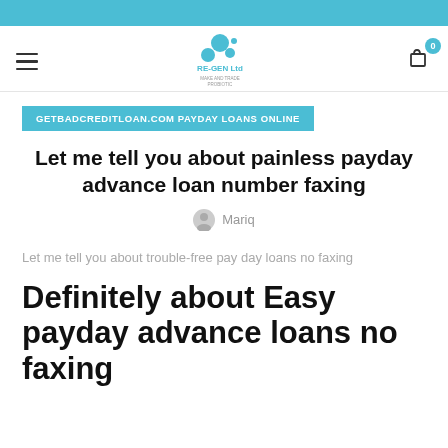RE-GEN Ltd (logo)
GETBADCREDITLOAN.COM PAYDAY LOANS ONLINE
Let me tell you about painless payday advance loan number faxing
Mariq
Let me tell you about trouble-free pay day loans no faxing
Definitely about Easy payday advance loans no faxing